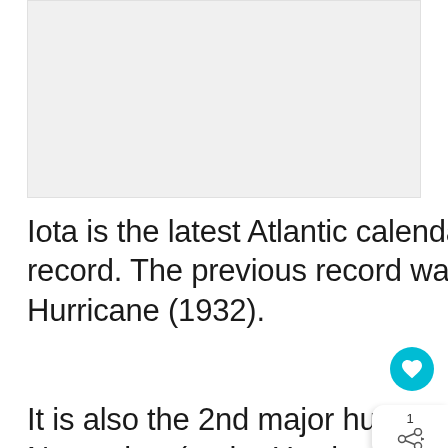[Figure (photo): Placeholder image area, light gray background, likely showing a weather map or hurricane satellite image]
Iota is the latest Atlantic calendar year Category 5 hurricane on record. The previous record was November 8th by the Cuba Hurricane (1932).
It is also the 2nd major hurricane to form th November (major Hurricane Eta was the fi one). This sets another remarkable record